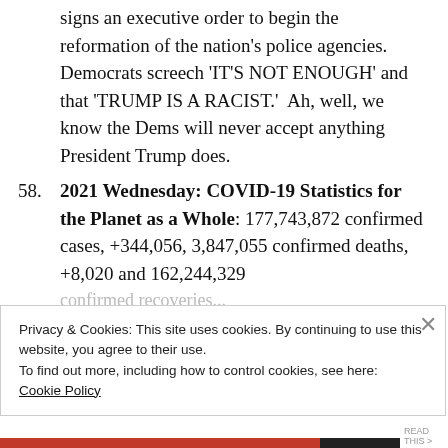signs an executive order to begin the reformation of the nation's police agencies. Democrats screech 'IT'S NOT ENOUGH' and that 'TRUMP IS A RACIST.'  Ah, well, we know the Dems will never accept anything President Trump does.
58. 2021 Wednesday: COVID-19 Statistics for the Planet as a Whole: 177,743,872 confirmed cases, +344,056, 3,847,055 confirmed deaths, +8,020 and 162,244,329 confirmed recoveries...
Privacy & Cookies: This site uses cookies. By continuing to use this website, you agree to their use.
To find out more, including how to control cookies, see here:
Cookie Policy
Close and accept